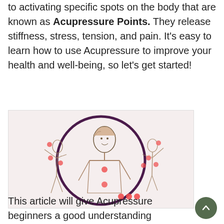to activating specific spots on the body that are known as Acupressure Points. They release stiffness, stress, tension, and pain. It's easy to learn how to use Acupressure to improve your health and well-being, so let's get started!
[Figure (illustration): Illustration of human figures with red acupressure points marked on their bodies, arranged in a circular composition with a dark purple circle outline]
This article will give Acupressure beginners a good understanding